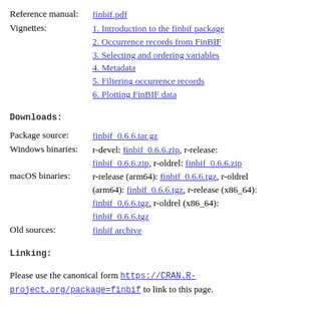Reference manual: finbif.pdf
Vignettes: 1. Introduction to the finbif package
2. Occurrence records from FinBIF
3. Selecting and ordering variables
4. Metadata
5. Filtering occurrence records
6. Plotting FinBIF data
Downloads:
Package source: finbif_0.6.6.tar.gz
Windows binaries: r-devel: finbif_0.6.6.zip, r-release: finbif_0.6.6.zip, r-oldrel: finbif_0.6.6.zip
macOS binaries: r-release (arm64): finbif_0.6.6.tgz, r-oldrel (arm64): finbif_0.6.6.tgz, r-release (x86_64): finbif_0.6.6.tgz, r-oldrel (x86_64): finbif_0.6.6.tgz
Old sources: finbif archive
Linking:
Please use the canonical form https://CRAN.R-project.org/package=finbif to link to this page.